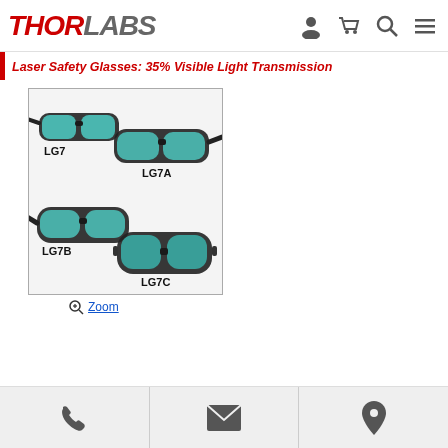THORLABS [logo with user, cart, search, menu icons]
Laser Safety Glasses: 35% Visible Light Transmission
[Figure (photo): Four laser safety glasses models: LG7 (small wrap-around style), LG7A (larger wrap-around style), LG7B (sporty style), LG7C (goggle style), all with teal/cyan lenses and black frames]
Zoom
Phone | Email | Location contact icons